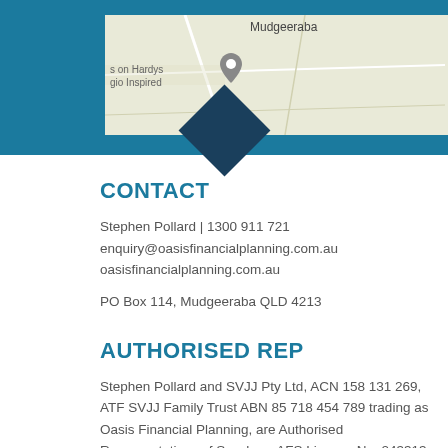[Figure (map): Map screenshot showing Mudgeeraba area with a dark teal diamond marker and a Google Maps pin. Labels include 'Mudgeeraba', 's on Hardys', 'gio Inspired'.]
CONTACT
Stephen Pollard | 1300 911 721
enquiry@oasisfinancialplanning.com.au
oasisfinancialplanning.com.au

PO Box 114, Mudgeeraba QLD 4213
AUTHORISED REP
Stephen Pollard and SVJJ Pty Ltd, ACN 158 131 269, ATF SVJJ Family Trust ABN 85 718 454 789 trading as Oasis Financial Planning, are Authorised Representatives of Synchron AFS Licence No. 243313, an Australian Financial